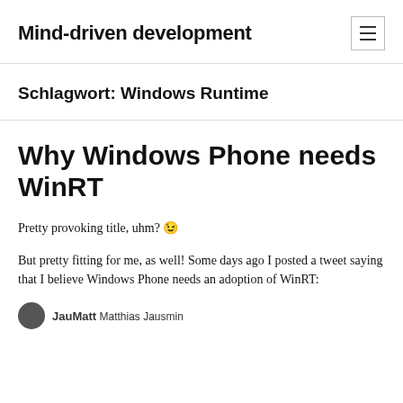Mind-driven development
Schlagwort: Windows Runtime
Why Windows Windows Phone needs WinRT
Pretty provoking title, uhm? 😉
But pretty fitting for me, as well! Some days ago I posted a tweet saying that I believe Windows Phone needs an adoption of WinRT:
JauMatt Matthias Jausmin